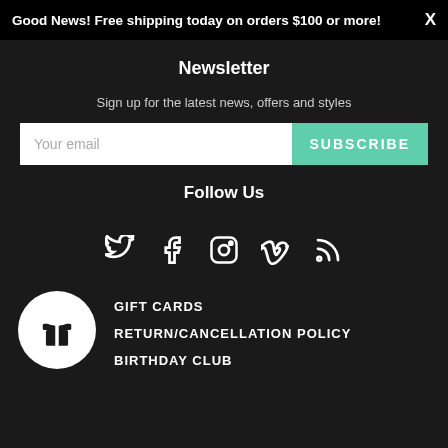Good News! Free shipping today on orders $100 or more! X
Newsletter
Sign up for the latest news, offers and styles
Your email  SUBSCRIBE
Follow Us
[Figure (infographic): Social media icons: Twitter, Facebook, Instagram, Vimeo, RSS]
[Figure (illustration): White circle with gift box icon inside]
GIFT CARDS
RETURN/CANCELLATION POLICY
BIRTHDAY CLUB